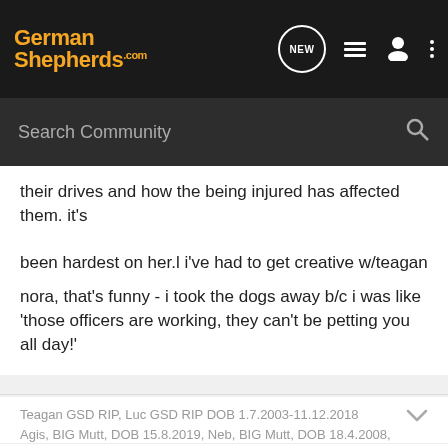GermanShepherds.com
their drives and how the being injured has affected them. it's been hardest on her.l i've had to get creative w/teagan
nora, that's funny - i took the dogs away b/c i was like 'those officers are working, they can't be petting you all day!'
Teagan GSD RIP, Luc GSD RIP DOB 1.7.2003-11.12.2018 Agis, BIG Mutt, DOB 15.8.2019, Neb, BIG Mutt, DOB 18.4.2008,
Reply  Quote